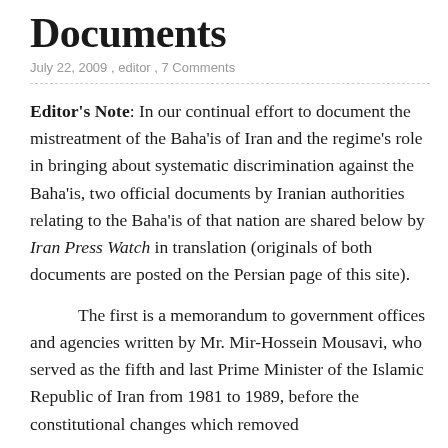Documents
July 22, 2009 , editor , 7 Comments
Editor's Note:  In our continual effort to document the mistreatment of the Baha'is of Iran and the regime's role in bringing about systematic discrimination against the Baha'is, two official documents by Iranian authorities relating to the Baha'is of that nation are shared below by Iran Press Watch in translation (originals of both documents are posted on the Persian page of this site).
The first is a memorandum to government offices and agencies written by Mr. Mir-Hossein Mousavi, who served as the fifth and last Prime Minister of the Islamic Republic of Iran from 1981 to 1989, before the constitutional changes which removed